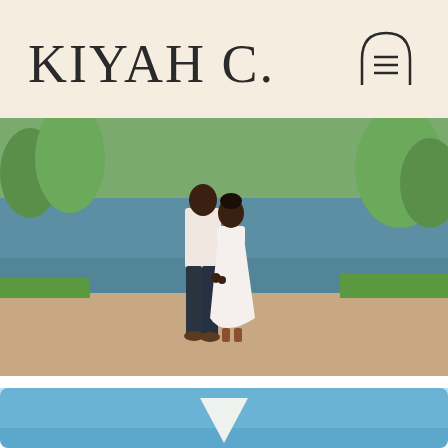KIYAH C.
[Figure (photo): Couple standing by a park pond. A tall man in a white shirt and dark trousers stands next to a woman in a white off-shoulder midi dress. They are holding hands and facing each other, smiling. Green trees and calm water visible in the background on a sunny day.]
[Figure (photo): Bottom portion of a second photo showing a blue sky scene, partially visible at the bottom of the page.]